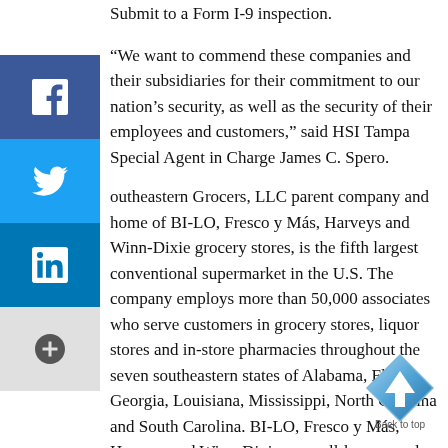Submit to a Form I-9 inspection.
“We want to commend these companies and their subsidiaries for their commitment to our nation’s security, as well as the security of their employees and customers,” said HSI Tampa Special Agent in Charge James C. Spero.
Southeastern Grocers, LLC parent company and home of BI-LO, Fresco y Más, Harveys and Winn-Dixie grocery stores, is the fifth largest conventional supermarket in the U.S. The company employs more than 50,000 associates who serve customers in grocery stores, liquor stores and in-store pharmacies throughout the seven southeastern states of Alabama, Florida, Georgia, Louisiana, Mississippi, North Carolina and South Carolina. BI-LO, Fresco y Más, Harveys and Winn-Dixie are well-known and well-respected regional brands with deep heritages, strong neighborhood ties, proud histories of giving back, talented and loyal associates, and strong commitments to providing the best possible quality and value to